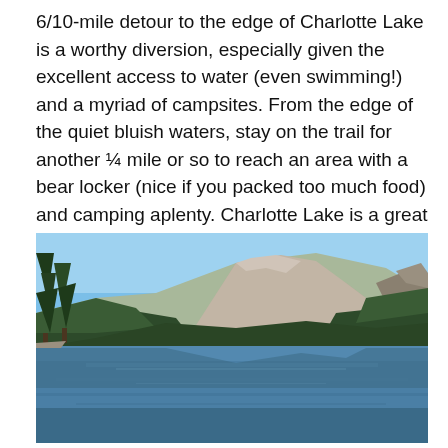6/10-mile detour to the edge of Charlotte Lake is a worthy diversion, especially given the excellent access to water (even swimming!) and a myriad of campsites. From the edge of the quiet bluish waters, stay on the trail for another ¼ mile or so to reach an area with a bear locker (nice if you packed too much food) and camping aplenty. Charlotte Lake is a great place to watch the sunset over the vast, deep waters, in the shadow of Mount Bago to the south.
[Figure (photo): Photograph of Charlotte Lake with a large rocky mountain peak in the background, pine trees on the left foreground, forested slopes on both sides, blue sky, and calm blue lake water in the foreground.]